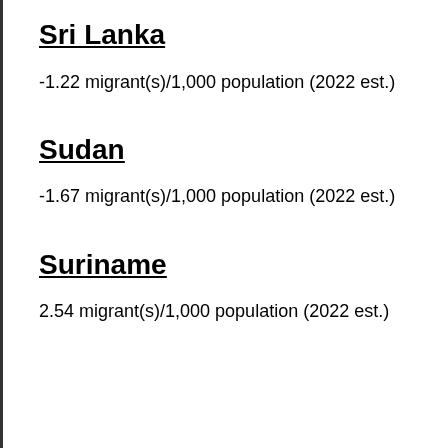Sri Lanka
-1.22 migrant(s)/1,000 population (2022 est.)
Sudan
-1.67 migrant(s)/1,000 population (2022 est.)
Suriname
2.54 migrant(s)/1,000 population (2022 est.)